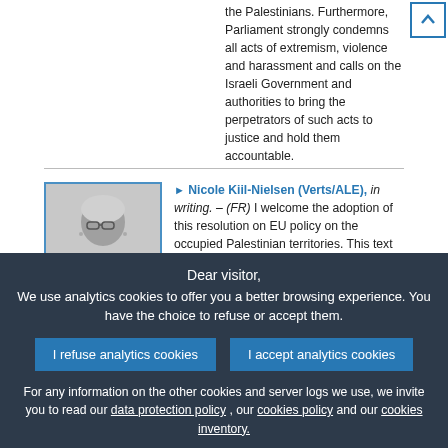the Palestinians. Furthermore, Parliament strongly condemns all acts of extremism, violence and harassment and calls on the Israeli Government and authorities to bring the perpetrators of such acts to justice and hold them accountable.
Nicole Kiil-Nielsen (Verts/ALE), in writing. – (FR) I welcome the adoption of this resolution on EU policy on the occupied Palestinian territories. This text provides a comprehensive account of reality on the ground and openly denounces the rampant expansion of Israeli settlements, the extremism of the settlers, the expulsions and the demolition of Palestinian houses. I welcome the fact that Parliament unequivocally calls on the Israeli authorities to end the expansion of the settlements and
Dear visitor,
We use analytics cookies to offer you a better browsing experience. You have the choice to refuse or accept them.
For any information on the other cookies and server logs we use, we invite you to read our data protection policy , our cookies policy and our cookies inventory.